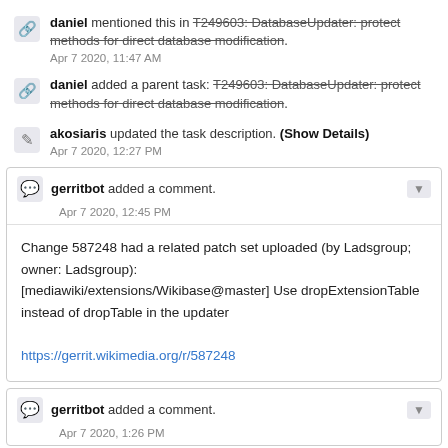daniel mentioned this in T249603: DatabaseUpdater: protect methods for direct database modification. Apr 7 2020, 11:47 AM
daniel added a parent task: T249603: DatabaseUpdater: protect methods for direct database modification.
akosiaris updated the task description. (Show Details) Apr 7 2020, 12:27 PM
gerritbot added a comment. Apr 7 2020, 12:45 PM
Change 587248 had a related patch set uploaded (by Ladsgroup; owner: Ladsgroup):
[mediawiki/extensions/Wikibase@master] Use dropExtensionTable instead of dropTable in the updater

https://gerrit.wikimedia.org/r/587248
gerritbot added a comment. Apr 7 2020, 1:26 PM